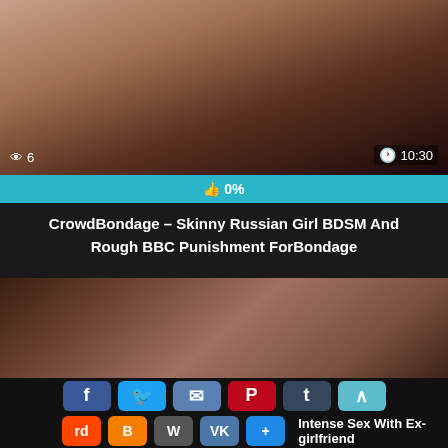[Figure (screenshot): Video thumbnail top - dark intimate scene]
👁 6
🕐 10:30
👍 0%
CrowdBondage – Skinny Russian Girl BDSM And Rough BBC Punishment ForBondage
[Figure (screenshot): Video thumbnail bottom - dark intimate scene]
👁 5
:14
Intense Sex With Ex-girlfriend